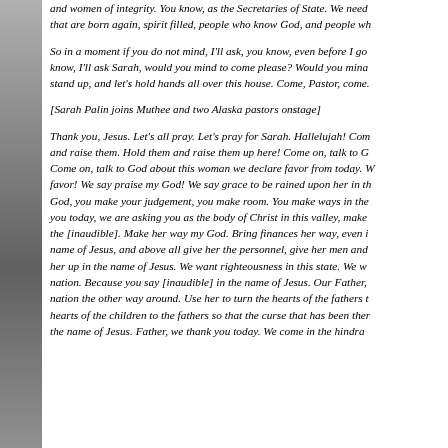and women of integrity. You know, as the Secretaries of State. We need that are born again, spirit filled, people who know God, and people wh
So in a moment if you do not mind, I'll ask, you know, even before I go know, I'll ask Sarah, would you mind to come please? Would you mina stand up, and let's hold hands all over this house. Come, Pastor, come.
[Sarah Palin joins Muthee and two Alaska pastors onstage]
Thank you, Jesus. Let's all pray. Let's pray for Sarah. Hallelujah! Com and raise them. Hold them and raise them up here! Come on, talk to G Come on, talk to God about this woman we declare favor from today. W favor! We say praise my God! We say grace to be rained upon her in th God, you make your judgement, you make room. You make ways in the you today, we are asking you as the body of Christ in this valley, make the [inaudible]. Make her way my God. Bring finances her way, even i name of Jesus, and above all give her the personnel, give her men and her up in the name of Jesus. We want righteousness in this state. We w nation. Because you say [inaudible] in the name of Jesus. Our Father, nation the other way around. Use her to turn the hearts of the fathers t hearts of the children to the fathers so that the curse that has been ther the name of Jesus. Father, we thank you today. We come in the hindra